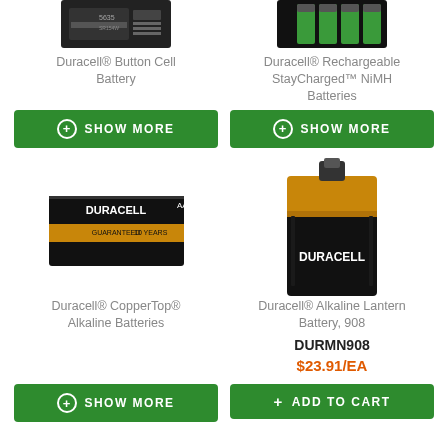[Figure (photo): Duracell Button Cell Battery product image - small black battery pack]
Duracell® Button Cell Battery
[Figure (photo): Duracell Rechargeable StayCharged NiMH Batteries product image - green batteries]
Duracell® Rechargeable StayCharged™ NiMH Batteries
[Figure (photo): Show More button for Button Cell Battery]
[Figure (photo): Show More button for Rechargeable NiMH Batteries]
[Figure (photo): Duracell CopperTop Alkaline Batteries product image - black box with gold stripe]
Duracell® CopperTop® Alkaline Batteries
[Figure (photo): Duracell Alkaline Lantern Battery 908 product image - large black and gold battery]
Duracell® Alkaline Lantern Battery, 908
DURMN908
$23.91/EA